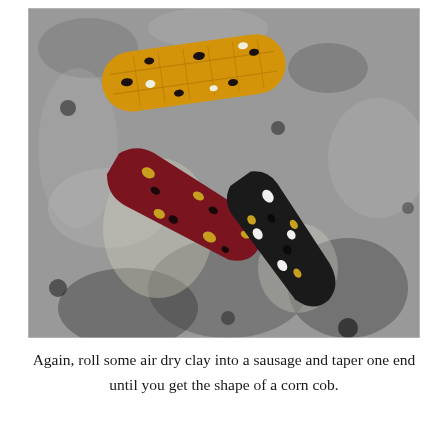[Figure (photo): Three clay corn cob shapes on a granite countertop. One is yellow/golden with black and white spots and textured surface, one is dark red/maroon with golden and black spots, and one is black with white and golden spots. Each has a tapered end resembling a corn cob shape.]
Again, roll some air dry clay into a sausage and taper one end until you get the shape of a corn cob.